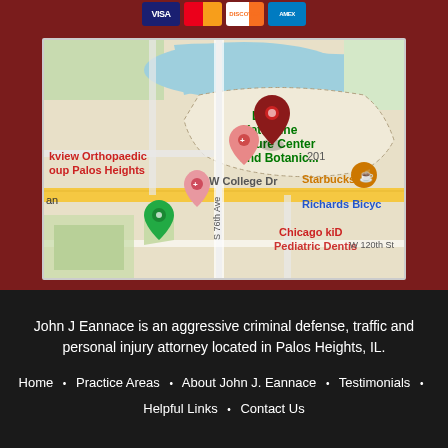[Figure (map): Google Maps screenshot showing the area around W College Dr and S 76th Ave in Palos Heights, IL, with landmarks including Lake Katherine Nature Center and Botanic, Starbucks, Richards Bicycle, Chicago kiD Pediatric Dentis, and kview Orthopaedic oup Palos Heights. Map pins visible at the location.]
John J Eannace is an aggressive criminal defense, traffic and personal injury attorney located in Palos Heights, IL.
Home • Practice Areas • About John J. Eannace • Testimonials • Helpful Links • Contact Us